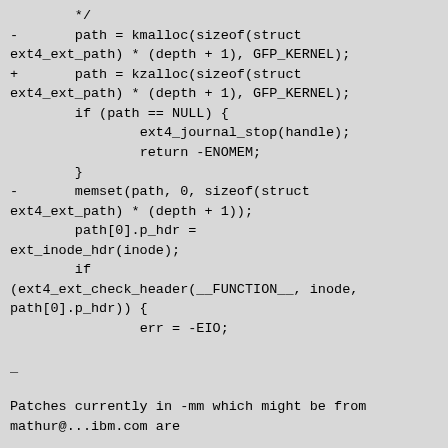*/
-       path = kmalloc(sizeof(struct ext4_ext_path) * (depth + 1), GFP_KERNEL);
+       path = kzalloc(sizeof(struct ext4_ext_path) * (depth + 1), GFP_KERNEL);
        if (path == NULL) {
                ext4_journal_stop(handle);
                return -ENOMEM;
        }
-       memset(path, 0, sizeof(struct ext4_ext_path) * (depth + 1));
        path[0].p_hdr =
ext_inode_hdr(inode);
        if
(ext4_ext_check_header(__FUNCTION__, inode,
path[0].p_hdr)) {
                err = -EIO;

_

Patches currently in -mm which might be from
mathur@...ibm.com are

origin.patch

-